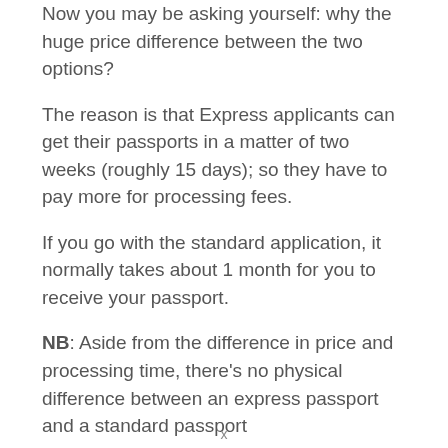Now you may be asking yourself: why the huge price difference between the two options?
The reason is that Express applicants can get their passports in a matter of two weeks (roughly 15 days); so they have to pay more for processing fees.
If you go with the standard application, it normally takes about 1 month for you to receive your passport.
NB: Aside from the difference in price and processing time, there’s no physical difference between an express passport and a standard passport
x